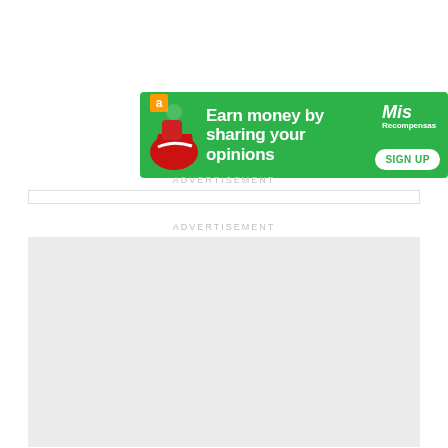[Figure (illustration): Green advertisement banner: 'Earn money by sharing your opinions' with a SIGN UP button, Amazon logo, Puma shoe image on the left, and 'Mis Recompensas' brand logo on the right.]
ADVERTISEMENT
[Figure (other): Empty advertisement placeholder box with light gray background.]
ADVERTISEMENT
[Figure (other): Empty advertisement placeholder box with light gray background, larger block below.]